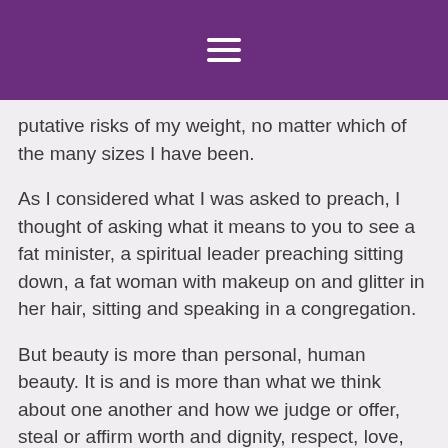≡
putative risks of my weight, no matter which of the many sizes I have been.
As I considered what I was asked to preach, I thought of asking what it means to you to see a fat minister, a spiritual leader preaching sitting down, a fat woman with makeup on and glitter in her hair, sitting and speaking in a congregation.
But beauty is more than personal, human beauty. It is and is more than what we think about one another and how we judge or offer, steal or affirm worth and dignity, respect, love, and care.